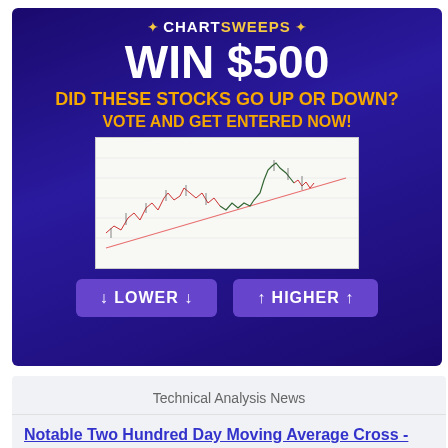[Figure (infographic): ChartSweeps advertisement banner with dark blue/purple gradient background. Shows 'WIN $500' headline, 'DID THESE STOCKS GO UP OR DOWN? VOTE AND GET ENTERED NOW!' text in orange, a stock price chart image, and two purple buttons labeled 'LOWER' and 'HIGHER'.]
Technical Analysis News
Notable Two Hundred Day Moving Average Cross - PRLD
3 hours, 45 minutes ago